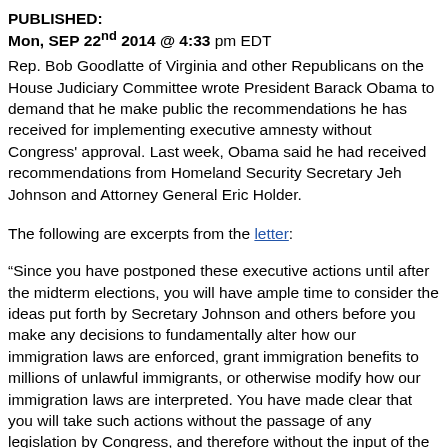PUBLISHED:
Mon, SEP 22nd 2014 @ 4:33 pm EDT
Rep. Bob Goodlatte of Virginia and other Republicans on the House Judiciary Committee wrote President Barack Obama to demand that he make public the recommendations he has received for implementing executive amnesty without Congress' approval. Last week, Obama said he had received recommendations from Homeland Security Secretary Jeh Johnson and Attorney General Eric Holder.
The following are excerpts from the letter:
“Since you have postponed these executive actions until after the midterm elections, you will have ample time to consider the ideas put forth by Secretary Johnson and others before you make any decisions to fundamentally alter how our immigration laws are enforced, grant immigration benefits to millions of unlawful immigrants, or otherwise modify how our immigration laws are interpreted. You have made clear that you will take such actions without the passage of any legislation by Congress, and therefore without the input of the American